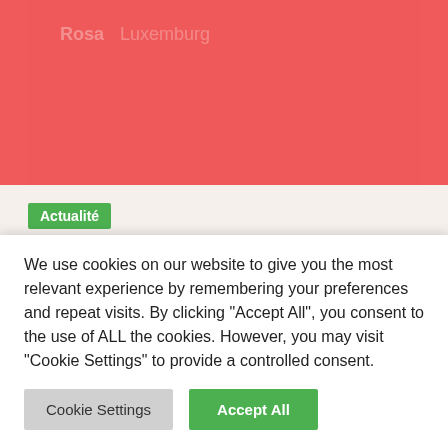[Figure (photo): Red/coral banner image at the top of the page, partially showing a website header with pink/red background]
Actualité
Conférence Rosa Luxemburg
Smolny / Mars 4, 2021
Un symposium en ligne est organisé par la Rosa-Luxemburg-Stiftung et la Société
We use cookies on our website to give you the most relevant experience by remembering your preferences and repeat visits. By clicking "Accept All", you consent to the use of ALL the cookies. However, you may visit "Cookie Settings" to provide a controlled consent.